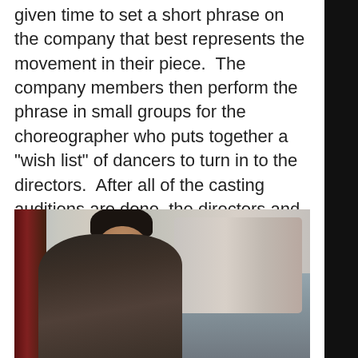given time to set a short phrase on the company that best represents the movement in their piece.  The company members then perform the phrase in small groups for the choreographer who puts together a "wish list" of dancers to turn in to the directors.  After all of the casting auditions are done, the directors and senior board member bunker down to set the casting for the performance.
[Figure (photo): A dance audition scene showing a young female dancer in the foreground with dark hair pulled back, wearing a dark jacket, looking intently to the side. In the blurred background, multiple other dancers and people are visible in a studio or rehearsal space.]